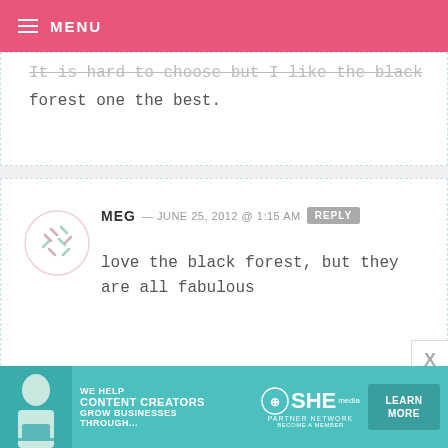MENU
It is hard to choose but I like the black forest one the best.
MEG — JUNE 25, 2012 @ 1:15 AM  REPLY
love the black forest, but they are all fabulous
WINTER — JUNE 25, 2012 @ 1:15 AM  REPLY
Definitely the key lime!
[Figure (infographic): SHE Partner Network advertisement banner: WE HELP CONTENT CREATORS GROW BUSINESSES THROUGH... with LEARN MORE button]